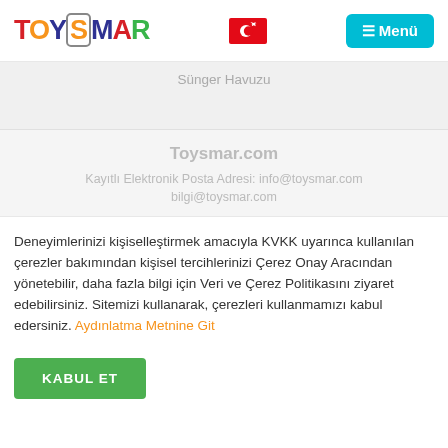[Figure (logo): Toysmar colorful toy store logo with bold letters in red, orange, green, yellow, blue]
[Figure (illustration): Turkish flag - red background with white crescent and star]
≡ Menü
Sünger Havuzu
Toysmar.com
Kayıtlı Elektronik Posta Adresi: info@toysmar.com
bilgi@toysmar.com
Deneyimlerinizi kişiselleştirmek amacıyla KVKK uyarınca kullanılan çerezler bakımından kişisel tercihlerinizi Çerez Onay Aracından yönetebilir, daha fazla bilgi için Veri ve Çerez Politikasını ziyaret edebilirsiniz. Sitemizi kullanarak, çerezleri kullanmamızı kabul edersiniz. Aydınlatma Metnine Git
KABUL ET